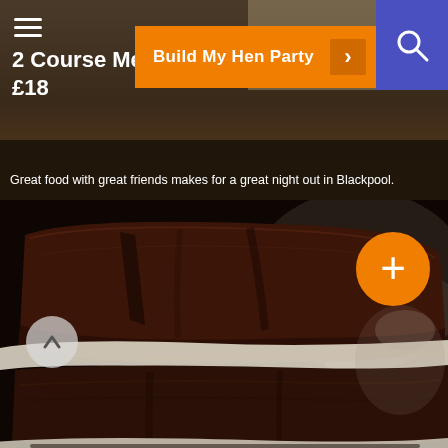[Figure (screenshot): Website screenshot showing a hen party planning site with top navigation banner featuring a '2 Course Meal £18' offer, a 'Build My Hen Party' orange button, a search icon in blue, and a subtitle about great food in Blackpool. Below is a large photograph of stacked chocolate brownies on parchment paper with an orange plus-button overlay.]
2 Course Meal £18
Build My Hen Party
Great food with great friends makes for a great night out in Blackpool.